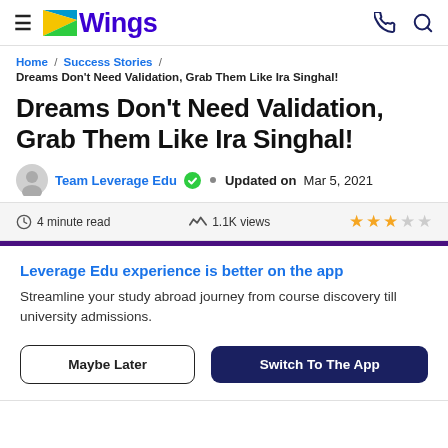Wings — navigation header with hamburger menu, Wings logo, phone and search icons
Home / Success Stories / Dreams Don't Need Validation, Grab Them Like Ira Singhal!
Dreams Don't Need Validation, Grab Them Like Ira Singhal!
Team Leverage Edu ✓  •  Updated on  Mar 5, 2021
⏱ 4 minute read   〜 1.1K views   ★★★☆☆
Leverage Edu experience is better on the app
Streamline your study abroad journey from course discovery till university admissions.
[Maybe Later]  [Switch To The App]